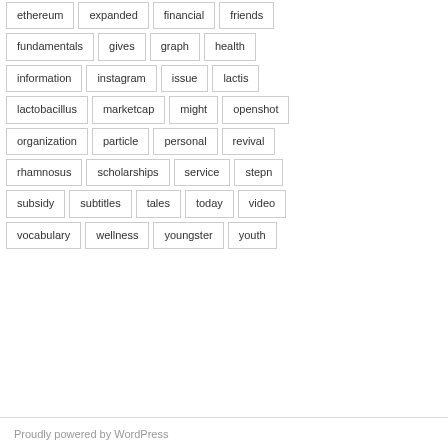ethereum
expanded
financial
friends
fundamentals
gives
graph
health
information
instagram
issue
lactis
lactobacillus
marketcap
might
openshot
organization
particle
personal
revival
rhamnosus
scholarships
service
stepn
subsidy
subtitles
tales
today
video
vocabulary
wellness
youngster
youth
Proudly powered by WordPress